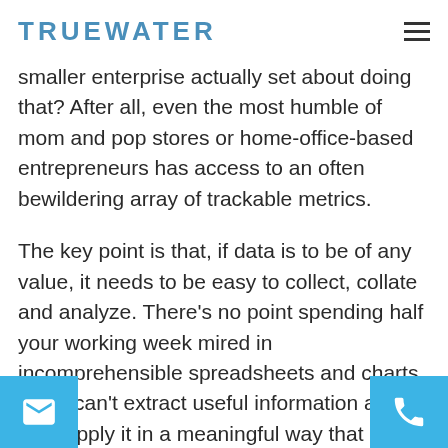TRUEWATER
smaller enterprise actually set about doing that? After all, even the most humble of mom and pop stores or home-office-based entrepreneurs has access to an often bewildering array of trackable metrics.
The key point is that, if data is to be of any value, it needs to be easy to collect, collate and analyze. There’s no point spending half your working week mired in incomprehensible spreadsheets and charts if you can’t extract useful information and then apply it in a meaningful way that meets your and goals.